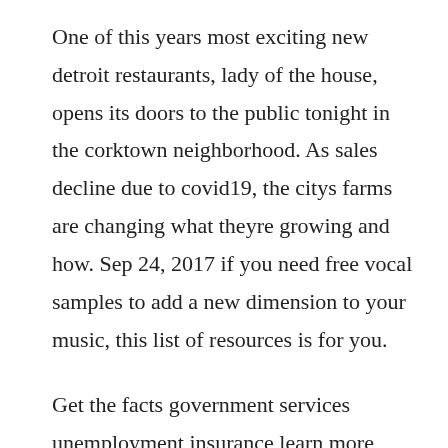One of this years most exciting new detroit restaurants, lady of the house, opens its doors to the public tonight in the corktown neighborhood. As sales decline due to covid19, the citys farms are changing what theyre growing and how. Sep 24, 2017 if you need free vocal samples to add a new dimension to your music, this list of resources is for you.
Get the facts government services unemployment insurance learn more homeread more. She is a young girl in an old